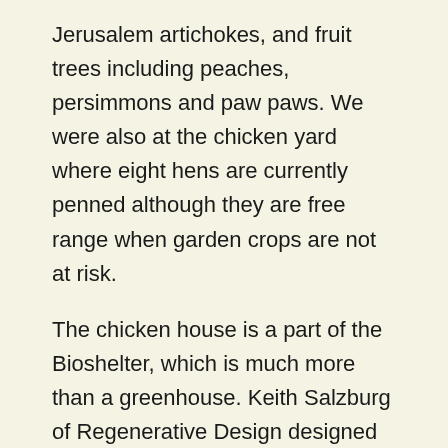Jerusalem artichokes, and fruit trees including peaches, persimmons and paw paws. We were also at the chicken yard where eight hens are currently penned although they are free range when garden crops are not at risk.
The chicken house is a part of the Bioshelter, which is much more than a greenhouse. Keith Salzburg of Regenerative Design designed the building which includes the large greenhouse. Right now raised beds hold cucumbers and a tall fig tree. Covered bins dug into the ground contain worm farms that handle kitchen scraps. There are also the beginnings of a hydroponic project.
The long interior wall of the greenhouse is lined with black barrels filled with water that heats up when the sun...